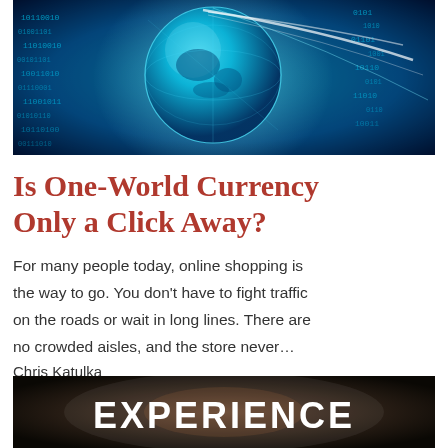[Figure (photo): Digital globe with binary code and glowing network lines on blue background]
Is One-World Currency Only a Click Away?
For many people today, online shopping is the way to go. You don't have to fight traffic on the roads or wait in long lines. There are no crowded aisles, and the store never…
Chris Katulka
[Figure (photo): Dark image with the word EXPERIENCE in large white bold text]